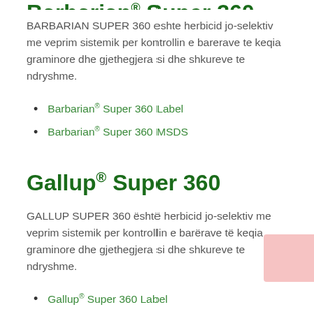Barbarian® Super 360
BARBARIAN SUPER 360 eshte herbicid jo-selektiv me veprim sistemik per kontrollin e barerave te keqia graminore dhe gjethegjera si dhe shkureve te ndryshme.
Barbarian® Super 360 Label
Barbarian® Super 360 MSDS
Gallup® Super 360
GALLUP SUPER 360 është herbicid jo-selektiv me veprim sistemik per kontrollin e barërave të keqia graminore dhe gjethegjera si dhe shkureve te ndryshme.
Gallup® Super 360 Label
Gallup® Super 360 MSDS